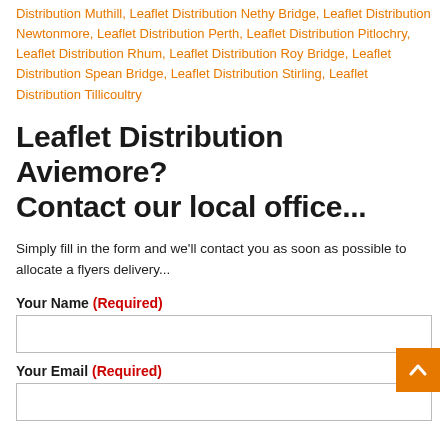Distribution Muthill, Leaflet Distribution Nethy Bridge, Leaflet Distribution Newtonmore, Leaflet Distribution Perth, Leaflet Distribution Pitlochry, Leaflet Distribution Rhum, Leaflet Distribution Roy Bridge, Leaflet Distribution Spean Bridge, Leaflet Distribution Stirling, Leaflet Distribution Tillicoultry
Leaflet Distribution Aviemore? Contact our local office...
Simply fill in the form and we'll contact you as soon as possible to allocate a flyers delivery...
Your Name (Required)
Your Email (Required)